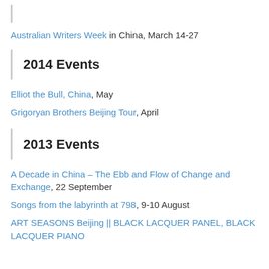Australian Writers Week in China, March 14-27
2014 Events
Elliot the Bull, China, May
Grigoryan Brothers Beijing Tour, April
2013 Events
A Decade in China – The Ebb and Flow of Change and Exchange, 22 September
Songs from the labyrinth at 798, 9-10 August
ART SEASONS Beijing || BLACK LACQUER PANEL, BLACK LACQUER PIANO